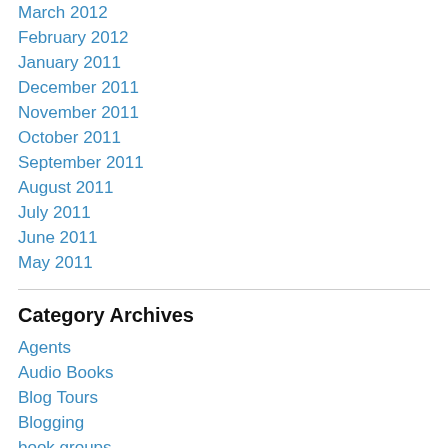March 2012
February 2012
January 2011
December 2011
November 2011
October 2011
September 2011
August 2011
July 2011
June 2011
May 2011
Category Archives
Agents
Audio Books
Blog Tours
Blogging
book groups